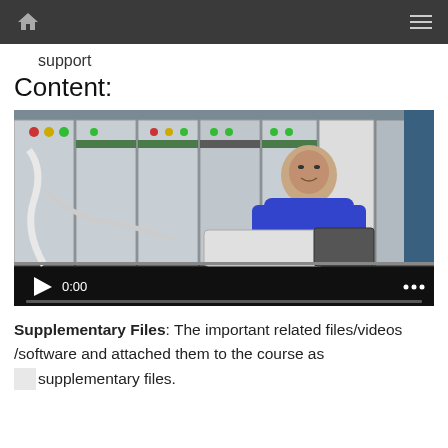support
Content:
[Figure (screenshot): Video player showing a man in a blue shirt standing in front of electrical switchgear panels in an industrial setting. The video is paused at 0:00 with playback controls visible at the bottom.]
Supplementary Files: The important related files/videos /software and attached them to the course as supplementary files.